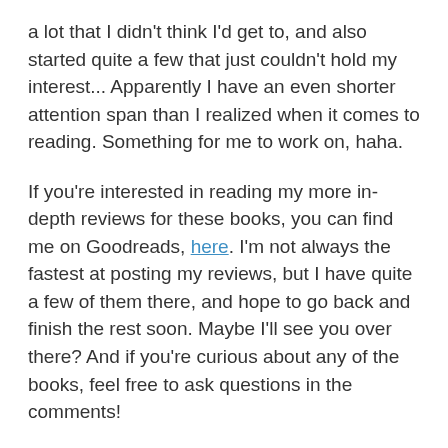a lot that I didn't think I'd get to, and also started quite a few that just couldn't hold my interest... Apparently I have an even shorter attention span than I realized when it comes to reading. Something for me to work on, haha.
If you're interested in reading my more in-depth reviews for these books, you can find me on Goodreads, here. I'm not always the fastest at posting my reviews, but I have quite a few of them there, and hope to go back and finish the rest soon. Maybe I'll see you over there? And if you're curious about any of the books, feel free to ask questions in the comments!
[Figure (other): Solid teal/turquoise colored button or banner bar]
What did YOU read this year? What were some of your